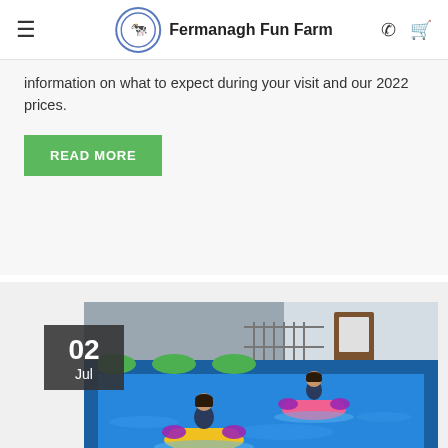Fermanagh Fun Farm
information on what to expect during your visit and our 2022 prices.
READ MORE
[Figure (photo): Children riding bumper boats in a colourful inflatable pool. Date badge showing 02 Jul overlaid on the top-left of the image.]